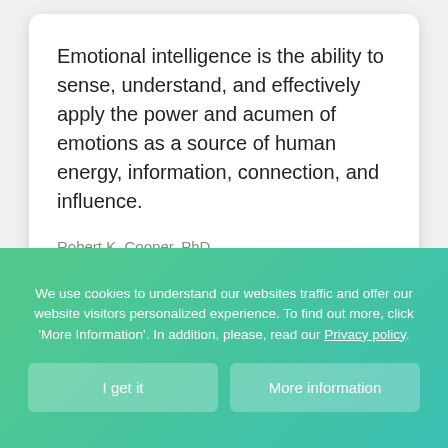Emotional intelligence is the ability to sense, understand, and effectively apply the power and acumen of emotions as a source of human energy, information, connection, and influence.
Robert K. Cooper, PhD
[Figure (other): Two overlapping circular reaction icons (thumb up and heart) with count 75]
We use cookies to understand our websites traffic and offer our website visitors personalized experience. To find out more, click ‘More Information’. In addition, please, read our Privacy policy.
I get it
More information